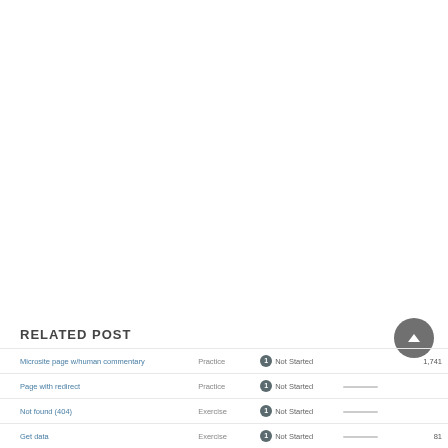RELATED POST
| Title | Type | Status | Progress | Score |
| --- | --- | --- | --- | --- |
| Microsite page w/human commentary | Practice | Not Started | —— | 1,741 |
| Page with redirect | Practice | Not Started | —— |  |
| Not found (404) | Exercise | Not Started | —— |  |
| Get data | Exercise | Not Started | —— | 81 |